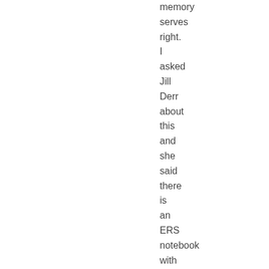memory serves right. I asked Jill Derr about this and she said there is an ERS notebook with a copy of the hymn that attributes it to